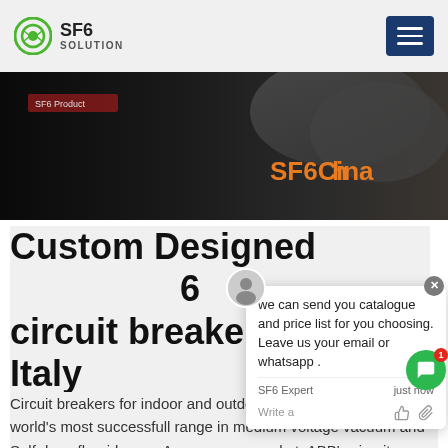SF6 SOLUTION
[Figure (screenshot): Dark hero banner image with text 'SF6China' in orange on the right side]
Custom Designed SF6 circuit breaker price list Italy
[Figure (infographic): Chat popup overlay with message: 'we can send you catalogue and price list for you choosing. Leave us your email or whatsapp .' with SF6 Expert label, just now timestamp, avatar, and action icons]
Circuit breakers for indoor and outdoor applications with the world's most successfull range in medium voltage vacuum and Sulfr hexafluoride gas. Across every market, ABB's circuit breakers occupy a leading position thanks to their proven reputation for reliability, performance and long life. CBs from ABB are available for original equipment